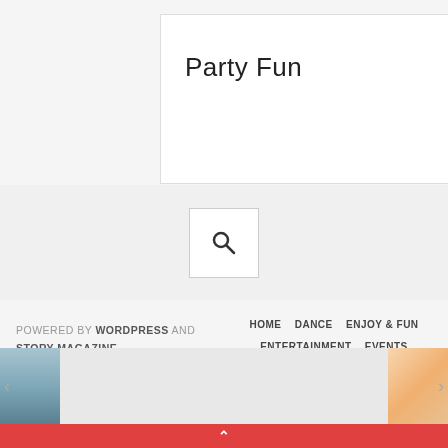Party Fun
[Figure (other): Search icon (magnifying glass) inside a white bordered box on a light grey background]
POWERED BY WORDPRESS AND STORY MAGAZINE.
HOME   DANCE   ENJOY & FUN   ENTERTAINMENT   EVENTS   MAGICIANS   MUSIC   PARTY FUN   YOUR INQUIRY